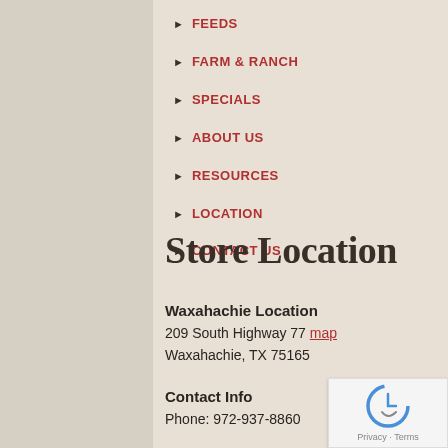FEEDS
FARM & RANCH
SPECIALS
ABOUT US
RESOURCES
LOCATION
CONTACT US
Store Location
Waxahachie Location
209 South Highway 77 map
Waxahachie, TX 75165
Contact Info
Phone: 972-937-8860
Store Hours
Mon - Fri: 8:00 am - 6:00 pm